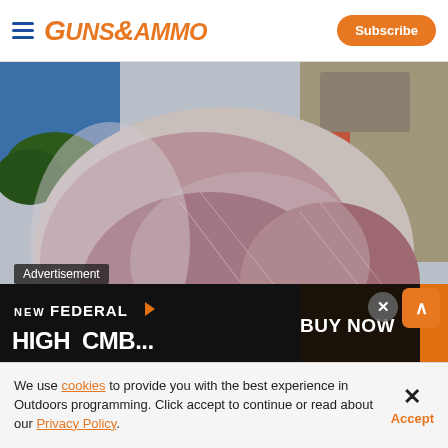GUNS&AMMO — Subscribe
[Figure (photo): Close-up photo of a game animal carcass (deer or similar) hanging, showing the hide and meat with a yellow arrow pointing to a wound/entry point. The animal is skinned, showing muscle tissue and sinew. A corn field or grain surface is visible at the bottom.]
Advertisement
[Figure (photo): Advertisement banner: NEW FEDERAL logo with orange arrow/target icon. Text reads BUY NOW on right side. Bottom shows partial text HIGH CMB or similar product name in large white letters on dark/black background.]
We use cookies to provide you with the best experience in Outdoors programming. Click accept to continue or read about our Privacy Policy.